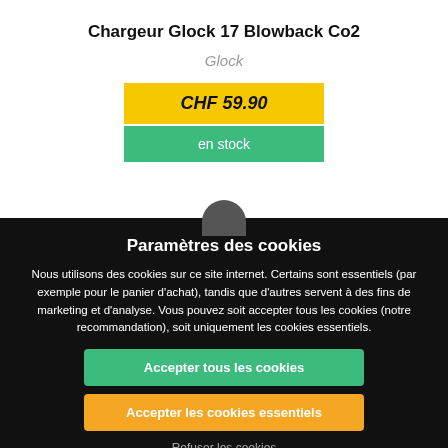Chargeur Glock 17 Blowback Co2
Glock
CHF 59.90
en stock
Paramètres des cookies
Nous utilisons des cookies sur ce site internet. Certains sont essentiels (par exemple pour le panier d'achat), tandis que d'autres servent à des fins de marketing et d'analyse. Vous pouvez soit accepter tous les cookies (notre recommandation), soit uniquement les cookies essentiels.
Accepter tous les cookies
Accepter les cookies essentiels
Refuser les cookies